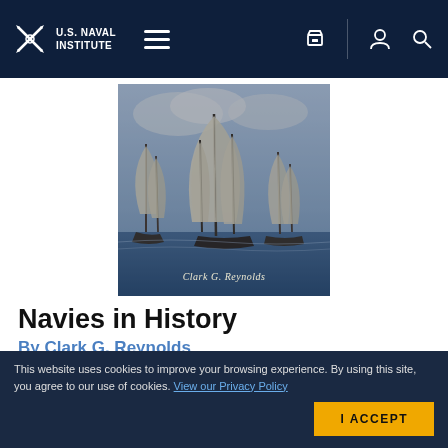U.S. Naval Institute
[Figure (illustration): Book cover of 'Navies in History' by Clark G. Reynolds — a sepia-toned painting of tall sailing ships with billowing sails, author name 'Clark G. Reynolds' overlaid at the bottom.]
Navies in History
By Clark G. Reynolds
This general history of the world's navies treats all major powers through the ages, from the Minoans in 2000 B.C. to the
This website uses cookies to improve your browsing experience. By using this site, you agree to our use of cookies. View our Privacy Policy